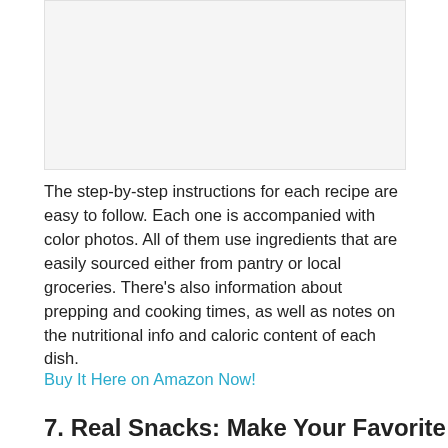[Figure (photo): Image placeholder area (book cover or food photo)]
The step-by-step instructions for each recipe are easy to follow. Each one is accompanied with color photos. All of them use ingredients that are easily sourced either from pantry or local groceries. There’s also information about prepping and cooking times, as well as notes on the nutritional info and caloric content of each dish.
Buy It Here on Amazon Now!
7. Real Snacks: Make Your Favorite